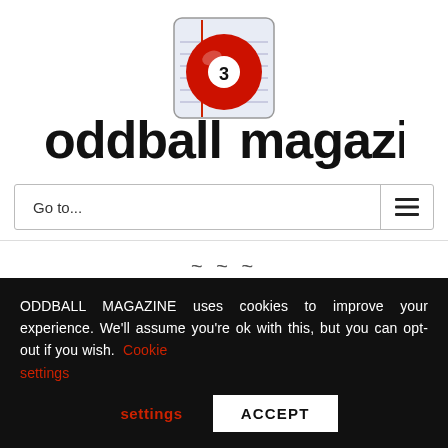[Figure (logo): Oddball Magazine logo: text 'oddball magazine' in bold black font with a red billiard ball numbered 3 integrated into the word, above a notebook-style icon with red margin line]
Go to...
~~~
The Invasion of the Body Snatchers
by Waldeci Erebus
ODDBALL MAGAZINE uses cookies to improve your experience. We'll assume you're ok with this, but you can opt-out if you wish.  Cookie settings  ACCEPT